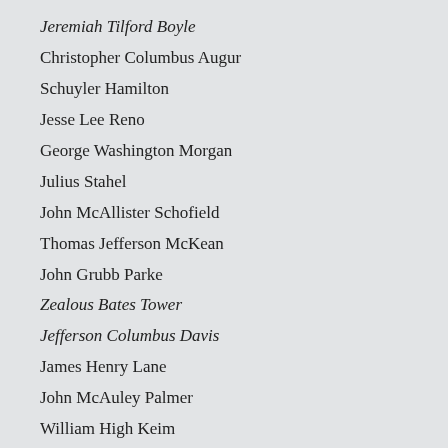Jeremiah Tilford Boyle
Christopher Columbus Augur
Schuyler Hamilton
Jesse Lee Reno
George Washington Morgan
Julius Stahel
John McAllister Schofield
Thomas Jefferson McKean
John Grubb Parke
Zealous Bates Tower
Jefferson Columbus Davis
James Henry Lane
John McAuley Palmer
William High Keim